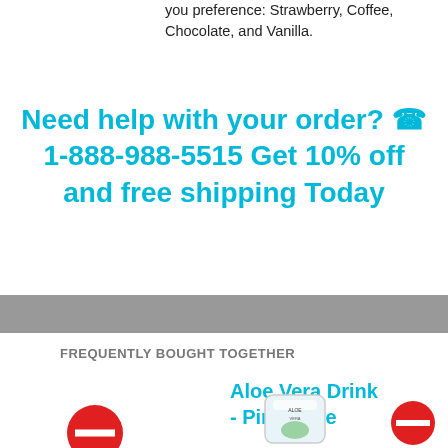you preference: Strawberry, Coffee, Chocolate, and Vanilla.
Need help with your order? ☎ 1-888-988-5515 Get 10% off and free shipping Today
FREQUENTLY BOUGHT TOGETHER
Aloe Vera Drink - Pineapple